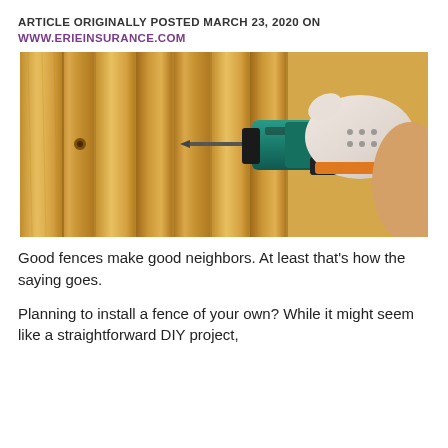ARTICLE ORIGINALLY POSTED MARCH 23, 2020 ON WWW.ERIEINSURANCE.COM
[Figure (photo): A gloved hand using a cordless drill to screw into a wooden fence plank, with multiple vertical light-wood fence boards visible in the background.]
Good fences make good neighbors. At least that's how the saying goes.
Planning to install a fence of your own? While it might seem like a straightforward DIY project,